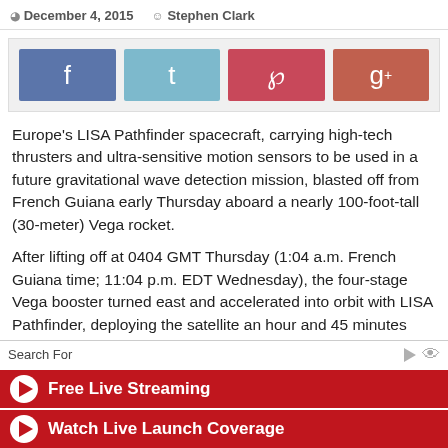December 4, 2015   Stephen Clark
[Figure (infographic): Social media share buttons: Facebook (blue), Twitter (light blue), Pinterest (red), Google+ (red-orange)]
Europe's LISA Pathfinder spacecraft, carrying high-tech thrusters and ultra-sensitive motion sensors to be used in a future gravitational wave detection mission, blasted off from French Guiana early Thursday aboard a nearly 100-foot-tall (30-meter) Vega rocket.
After lifting off at 0404 GMT Thursday (1:04 a.m. French Guiana time; 11:04 p.m. EDT Wednesday), the four-stage Vega booster turned east and accelerated into orbit with LISA Pathfinder, deploying the satellite an hour and 45 minutes later.
Search For
Free Live Streaming
Watch Live Launch Coverage